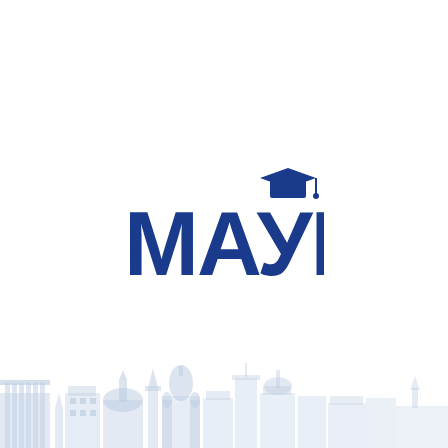[Figure (logo): МАУП university logo: bold dark blue Cyrillic letters МАУП with a graduation cap icon above the letter У]
[Figure (illustration): Light blue silhouette cityscape of Kyiv at the bottom of the page, showing buildings, domes, and monuments]